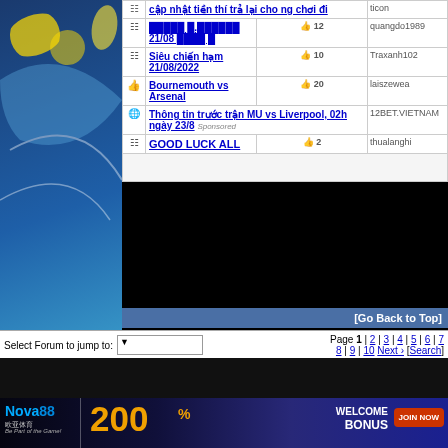[Figure (screenshot): Left banner with soccer players in white Leeds United jerseys against blue swirling background with yellow banana/ball shapes, SBOTOP sponsor visible]
| Icon | Thread Title | Likes | Author |
| --- | --- | --- | --- |
| [grid] | cập nhật tiền thí trả lại cho ng chơi đi |  | ticon |
| [grid] | ████ █.█████ 21/08 ████ █ | 12 | quangdo1989 |
| [grid] | Siêu chiến hạm 21/08/2022 | 10 | Traxanh102 |
| [thumb] | Bournemouth vs Arsenal | 20 | laiszewea |
| [globe] | Thông tin trước trận MU vs Liverpool, 02h ngày 23/8 [Sponsored] |  | 12BET.VIETNAM |
| [grid] | GOOD LUCK ALL | 2 | thualanghi |
[Go Back to Top]
Select Forum to jump to:
Page 1 | 2 | 3 | 4 | 5 | 6 | 7 | 8 | 9 | 10 Next › [Search]
[Figure (infographic): Nova88 advertisement banner: Nova88 logo, 200% WELCOME BONUS, JOIN NOW button, dark blue background with person figure]